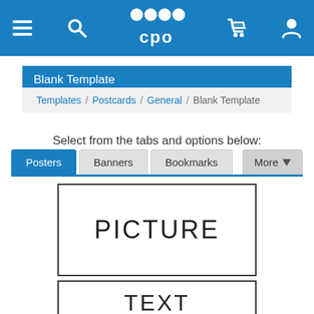CPO website header with menu, search, CPO logo, cart and account icons
Blank Template
Templates / Postcards / General / Blank Template
Select from the tabs and options below:
Posters  Banners  Bookmarks  More
[Figure (other): Template placeholder box with text PICTURE]
[Figure (other): Template placeholder box with text TEXT (partially visible)]